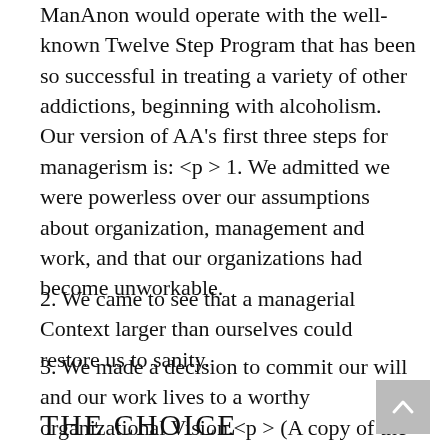ManAnon would operate with the well-known Twelve Step Program that has been so successful in treating a variety of other addictions, beginning with alcoholism. Our version of AA's first three steps for managerism is: <p > 1. We admitted we were powerless over our assumptions about organization, management and work, and that our organizations had become unworkable.
2. We came to see that a managerial Context larger than ourselves could restore us to sanity.
3. We made a decision to commit our will and our work lives to a worthy organizational Vision.<p > (A copy of the complete twelve steps is available upon request.)
THE CHOICE